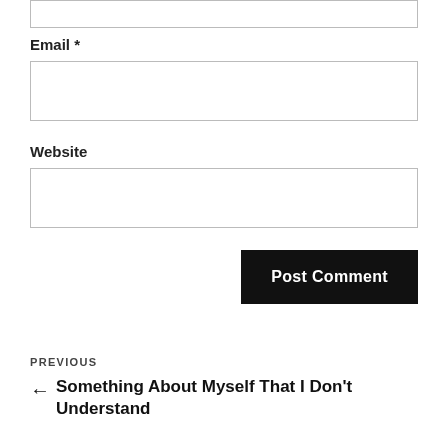Email *
Website
Post Comment
PREVIOUS
← Something About Myself That I Don't Understand